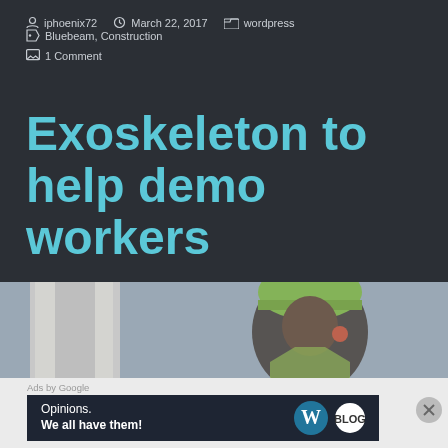iphoenix72   March 22, 2017   wordpress   Bluebeam, Construction   1 Comment
Exoskeleton to help demo workers
[Figure (photo): Construction worker wearing a green hard hat and high-visibility vest, looking upward at a structure against a grey sky]
Ads by Google
[Figure (other): Advertisement banner: 'Opinions. We all have them!' with WordPress logo and another logo on dark background]